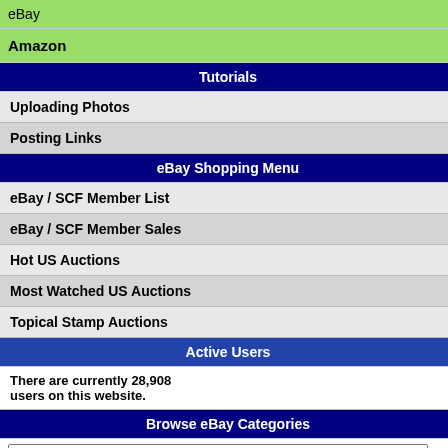eBay
Amazon
Tutorials
Uploading Photos
Posting Links
eBay Shopping Menu
eBay / SCF Member List
eBay / SCF Member Sales
Hot US Auctions
Most Watched US Auctions
Topical Stamp Auctions
Active Users
There are currently 28,908 users on this website.
Browse eBay Categories
Select Type
Donations
All Forums  Category: US Stamps and Co...
Grant Letter Sheet (Scott...
To participate in...
| Author |  |
| --- | --- |
| kanga
Valued Member
[stamp image]
25 Posts | Posted 09/02/202...
What's the Scott N...
It says 1879 on th...
I can't find it in my...
[letter image] |